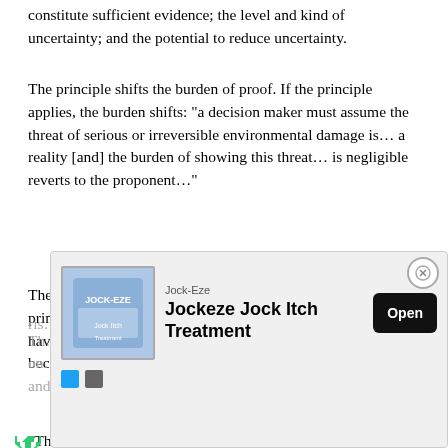constitute sufficient evidence; the level and kind of uncertainty; and the potential to reduce uncertainty.
The principle shifts the burden of proof. If the principle applies, the burden shifts: "a decision maker must assume the threat of serious or irreversible environmental damage is… a reality [and] the burden of showing this threat… is negligible reverts to the proponent…"
The precautionary principle invokes preventative action: "the principle permits the taking of preventative measures without having to wait until the reality and seriousness of the threat become fully known."
“The principle should not be used to try to avoid all risk…
The… depend on… ness and…